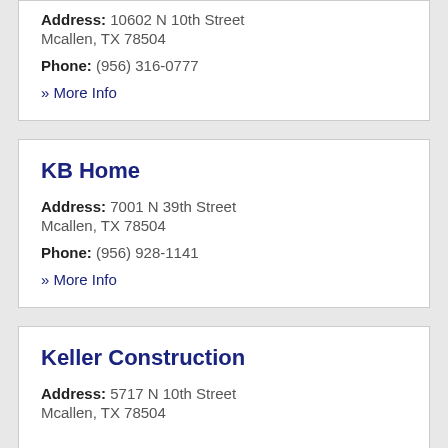Address: 10602 N 10th Street
Mcallen, TX 78504
Phone: (956) 316-0777
» More Info
KB Home
Address: 7001 N 39th Street
Mcallen, TX 78504
Phone: (956) 928-1141
» More Info
Keller Construction
Address: 5717 N 10th Street
Mcallen, TX 78504